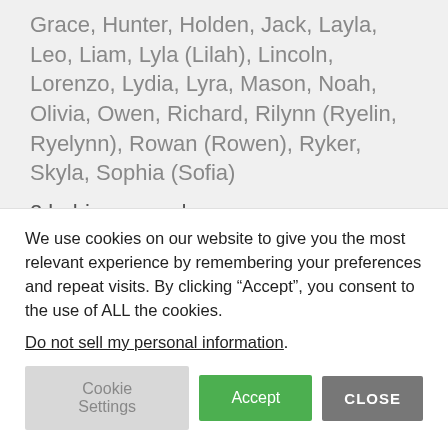Grace, Hunter, Holden, Jack, Layla, Leo, Liam, Lyla (Lilah), Lincoln, Lorenzo, Lydia, Lyra, Mason, Noah, Olivia, Owen, Richard, Rilynn (Ryelin, Ryelynn), Rowan (Rowen), Ryker, Skyla, Sophia (Sofia)
2 babies named:
Aiden/Aidyn, Allison/Alyson, Amara, Annabelle, Arya, Aubriella, Averie/Avery, Barrett, Bentley, Bodhi/Bodie, Braxton, Bryar/Bryor, Brynlee, ...
We use cookies on our website to give you the most relevant experience by remembering your preferences and repeat visits. By clicking “Accept”, you consent to the use of ALL the cookies.
Do not sell my personal information.